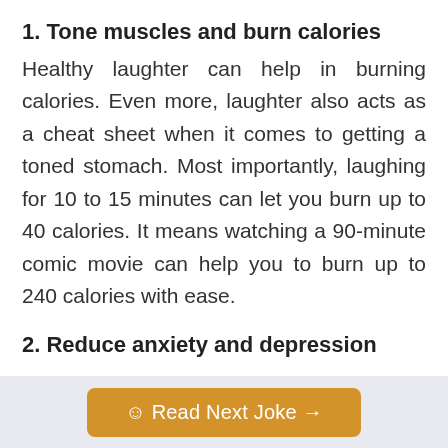1. Tone muscles and burn calories
Healthy laughter can help in burning calories. Even more, laughter also acts as a cheat sheet when it comes to getting a toned stomach. Most importantly, laughing for 10 to 15 minutes can let you burn up to 40 calories. It means watching a 90-minute comic movie can help you to burn up to 240 calories with ease.
2. Reduce anxiety and depression
☺ Read Next Joke →